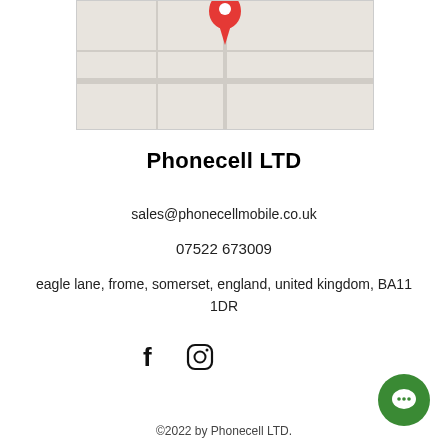[Figure (map): Google Maps style map with a red location pin marker centered at the top]
Phonecell LTD
sales@phonecellmobile.co.uk
07522 673009
eagle lane, frome, somerset, england, united kingdom, BA11 1DR
[Figure (infographic): Facebook and Instagram social media icons]
©2022 by Phonecell LTD.